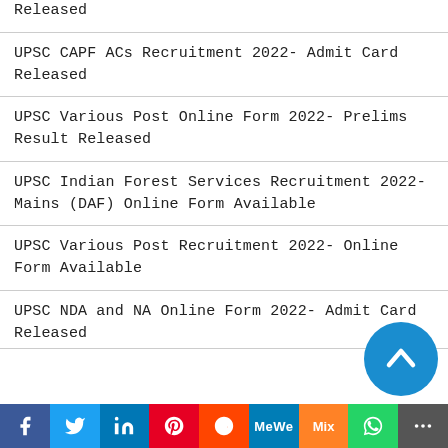Released
UPSC CAPF ACs Recruitment 2022- Admit Card Released
UPSC Various Post Online Form 2022- Prelims Result Released
UPSC Indian Forest Services Recruitment 2022- Mains (DAF) Online Form Available
UPSC Various Post Recruitment 2022- Online Form Available
UPSC NDA and NA Online Form 2022- Admit Card Released